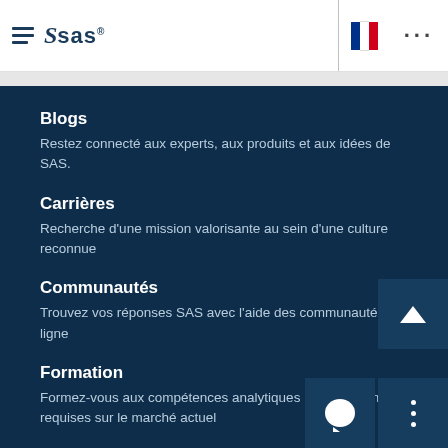SAS logo and navigation header with French flag
Blogs
Restez connecté aux experts, aux produits et aux idées de SAS.
Carrières
Recherche d'une mission valorisante au sein d'une culture reconnue
Communautés
Trouvez vos réponses SAS avec l'aide des communautés en ligne
Formation
Formez-vous aux compétences analytiques les plus pointues requises sur le marché actuel